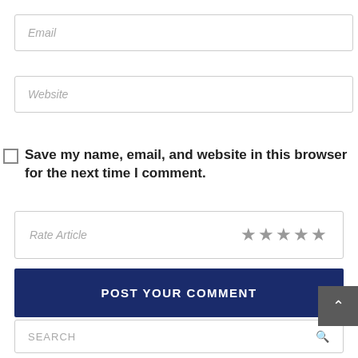Email
Website
Save my name, email, and website in this browser for the next time I comment.
Rate Article ★★★★★
POST YOUR COMMENT
SEARCH